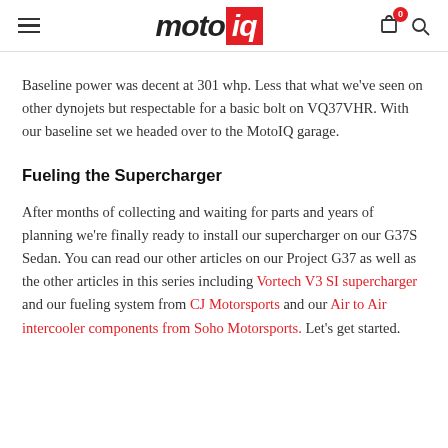motoiq
Baseline power was decent at 301 whp.  Less that what we've seen on other dynojets but respectable for a basic bolt on VQ37VHR.  With our baseline set we headed over to the MotoIQ garage.
Fueling the Supercharger
After months of collecting and waiting for parts and years of planning we're finally ready to install our supercharger on our G37S Sedan.  You can read our other articles on our Project G37 as well as the other articles in this series including Vortech V3 SI supercharger and our fueling system from CJ Motorsports and our Air to Air intercooler components from Soho Motorsports.  Let's get started.